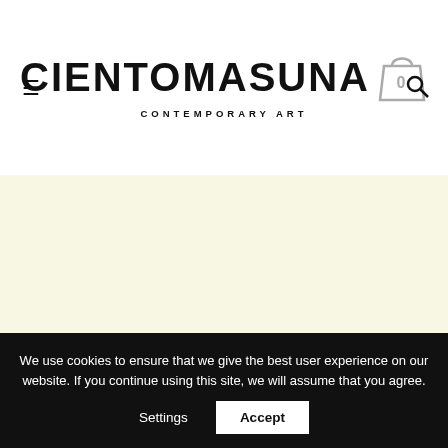CIENTOMASUNA CONTEMPORARY ART
LAURA LIO
[Figure (photo): Gray textured artwork image, partially visible at bottom of page]
We use cookies to ensure that we give the best user experience on our website. If you continue using this site, we will assume that you agree.